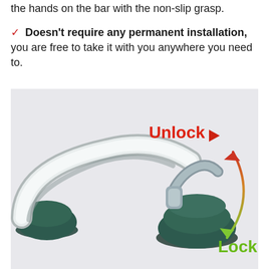the hands on the bar with the non-slip grasp.
✓ Doesn't require any permanent installation, you are free to take it with you anywhere you need to.
[Figure (photo): Photo of a suction cup grab bar/safety handle showing a locking mechanism. A curved arrow points from a lever upward to red text 'Unlock' and downward to green text 'Lock', illustrating how to operate the suction cup locking lever on the grab bar.]